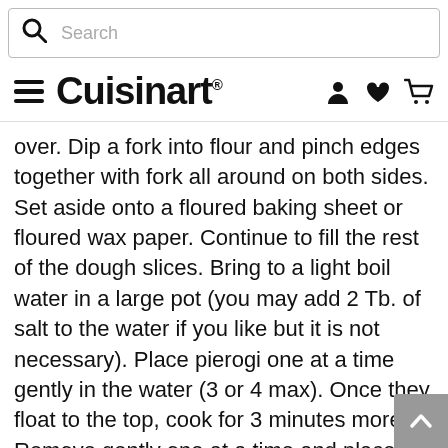Search
Cuisinart
over. Dip a fork into flour and pinch edges together with fork all around on both sides. Set aside onto a floured baking sheet or floured wax paper. Continue to fill the rest of the dough slices. Bring to a light boil water in a large pot (you may add 2 Tb. of salt to the water if you like but it is not necessary). Place pierogi one at a time gently in the water (3 or 4 max). Once they float to the top, cook for 3 minutes more. Remove gently one at a time and place in a pan with cool water for 2 minutes, then drain on a cookie sheet rack to cool & dry. (At this point, you may place them into a freezer storage bag for future use.) For that day serving, fry the pierogi in melted butter until golden brown on both sides. Serve with sauteed onion slices, sour cream